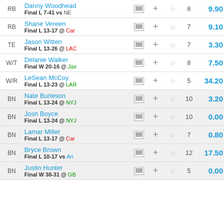| Pos | Player |  | + | ☆ | # | Pts |
| --- | --- | --- | --- | --- | --- | --- |
| RB | Danny Woodhead
Final L 7-41 vs NE | ≡ | + | ☆ | 8 | 9.90 |
| RB | Shane Vereen
Final L 13-17 @ Car | ≡ | + | ☆ | 7 | 9.10 |
| TE | Jason Witten
Final L 13-26 @ LAC | ≡ | + | ☆ | 7 | 3.30 |
| W/T | Delanie Walker
Final W 20-16 @ Jax | ≡ | + | ☆ | 8 | 7.50 |
| W/R | LeSean McCoy
Final L 13-23 @ LAR | ≡ | + | ☆ | 5 | 34.20 |
| BN | Nate Burleson
Final L 13-24 @ NYJ | ≡ | + | ☆ | 10 | 3.20 |
| BN | Josh Boyce
Final L 13-24 @ NYJ | ≡ | + | ☆ | 10 | 0.00 |
| BN | Lamar Miller
Final L 13-17 @ Car | ≡ | + | ☆ | 7 | 0.80 |
| BN | Bryce Brown
Final L 10-17 vs Ari | ≡ | + | ☆ | 12 | 17.50 |
| BN | Justin Hunter
Final W 38-31 @ GB | ≡ | + | ☆ | 5 | 0.00 |